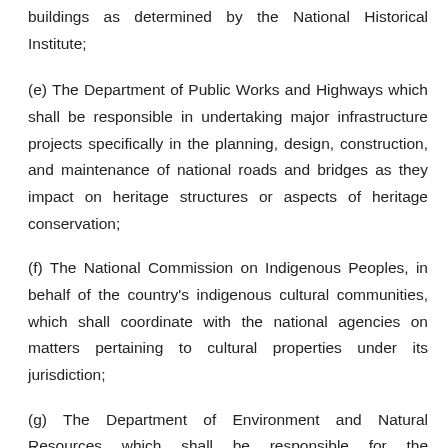buildings as determined by the National Historical Institute;
(e) The Department of Public Works and Highways which shall be responsible in undertaking major infrastructure projects specifically in the planning, design, construction, and maintenance of national roads and bridges as they impact on heritage structures or aspects of heritage conservation;
(f) The National Commission on Indigenous Peoples, in behalf of the country's indigenous cultural communities, which shall coordinate with the national agencies on matters pertaining to cultural properties under its jurisdiction;
(g) The Department of Environment and Natural Resources which shall be responsible for the establishment and